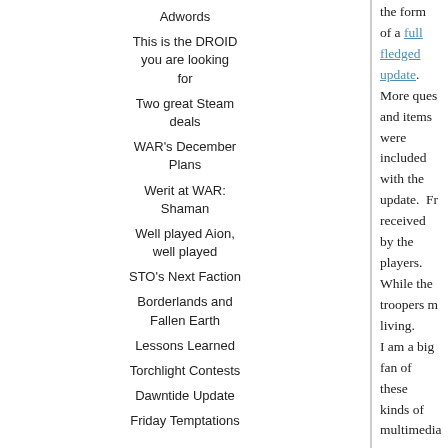Adwords
This is the DROID you are looking for
Two great Steam deals
WAR's December Plans
Werit at WAR: Shaman
Well played Aion, well played
STO's Next Faction
Borderlands and Fallen Earth
Lessons Learned
Torchlight Contests
Dawntide Update
Friday Temptations
the form of a full fledged update. More quest and items were included with the update. Fr received by the players. While the troopers m living.
I am a big fan of these kinds of multimedia ev has been good about that, except their books the other way around. When you have a goo many ways as possible.
Posted in: Star Wars
[Figure (infographic): Share icons: email (M), Blogger (B), Twitter (t), Facebook (f)]
Newer Post    Home
[Figure (logo): Disqus logo - large D in a dark grey speech bubble circle]